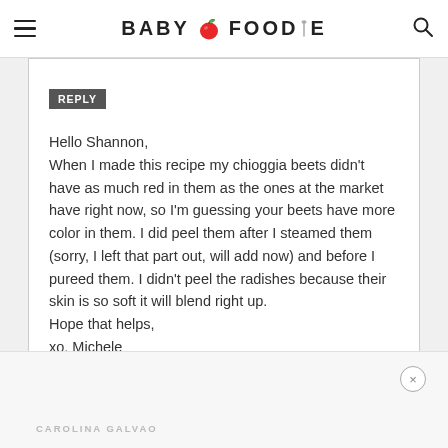BABY FOODIE
MICHELE ...
REPLY
Hello Shannon,
When I made this recipe my chioggia beets didn't have as much red in them as the ones at the market have right now, so I'm guessing your beets have more color in them. I did peel them after I steamed them (sorry, I left that part out, will add now) and before I pureed them. I didn't peel the radishes because their skin is so soft it will blend right up.
Hope that helps,
xo, Michele
CAROLINA GALVAO ...